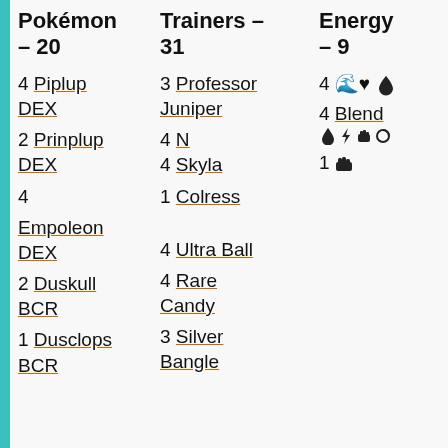Pokémon – 20
Trainers – 31
Energy – 9
4 Piplup DEX
3 Professor Juniper
4 [water energy icon]
2 Prinplup DEX
4 N
4 Blend [water/lightning/fighting/psychic energy icons]
4 Empoleon DEX
4 Skyla
1 [fighting energy icon]
2 Duskull BCR
1 Colress
1 Dusclops BCR
4 Ultra Ball
4 Rare Candy
3 Silver Bangle